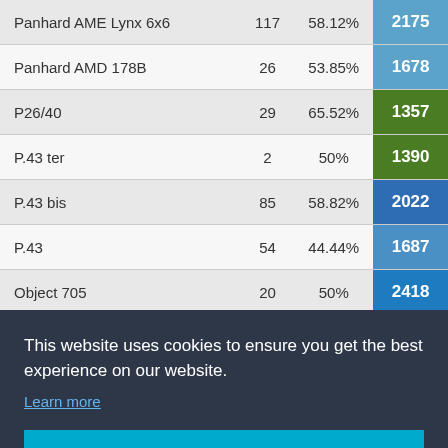|  |  |  |  |
| --- | --- | --- | --- |
| Panhard AME Lynx 6x6 | 117 | 58.12% | 2175 |
| Panhard AMD 178B | 26 | 53.85% | 1678 |
| P26/40 | 29 | 65.52% | 1357 |
| P.43 ter | 2 | 50% | 1390 |
| P.43 bis | 85 | 58.82% | 2022 |
| P.43 | 54 | 44.44% | 1687 |
| Object 705 | 20 | 50% | 2418 |
| Object ??? | ?? | 58.??% | 1??4 |
| ... | ... | ..?% | ??9 |
| ... | ... | ..??% | ???8 |
| ... | ... | ..?% | ??39 |
| ... | ... | ..?% | ??19 |
| ... | . | ...?% | ??4 |
| MS-1 | 37 | 51.35% | 179 |
This website uses cookies to ensure you get the best experience on our website.
Learn more
Got it!